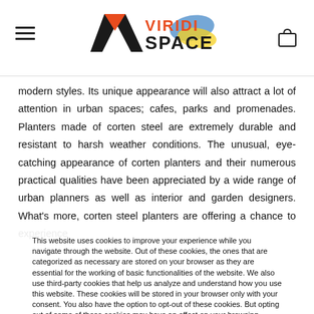[Figure (logo): Viridi Space logo with orange V chevron shape and Ukraine flag colors watercolor splash]
modern styles. Its unique appearance will also attract a lot of attention in urban spaces; cafes, parks and promenades. Planters made of corten steel are extremely durable and resistant to harsh weather conditions. The unusual, eye-catching appearance of corten planters and their numerous practical qualities have been appreciated by a wide range of urban planners as well as interior and garden designers. What's more, corten steel planters are offering a chance to experience
This website uses cookies to improve your experience while you navigate through the website. Out of these cookies, the ones that are categorized as necessary are stored on your browser as they are essential for the working of basic functionalities of the website. We also use third-party cookies that help us analyze and understand how you use this website. These cookies will be stored in your browser only with your consent. You also have the option to opt-out of these cookies. But opting out of some of these cookies may have an effect on your browsing experience.
Find out more
Accept